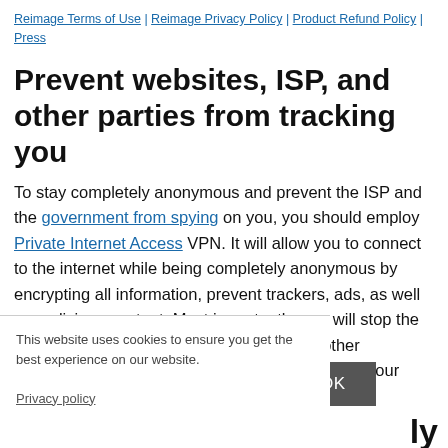Reimage Terms of Use | Reimage Privacy Policy | Product Refund Policy | Press
Prevent websites, ISP, and other parties from tracking you
To stay completely anonymous and prevent the ISP and the government from spying on you, you should employ Private Internet Access VPN. It will allow you to connect to the internet while being completely anonymous by encrypting all information, prevent trackers, ads, as well as malicious content. Most importantly, you will stop the illegal surveillance activities that NSA and other governmental institutions are performing behind your back.
This website uses cookies to ensure you get the best experience on our website.
Privacy policy
OK
ly